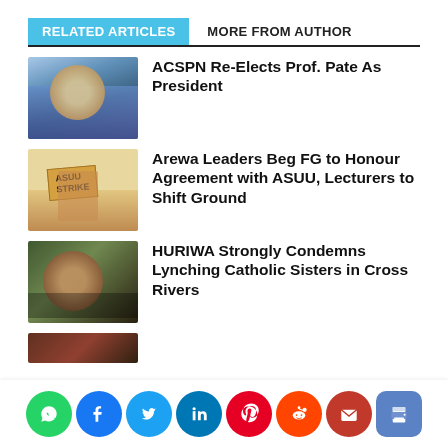RELATED ARTICLES    MORE FROM AUTHOR
ACSPN Re-Elects Prof. Pate As President
Arewa Leaders Beg FG to Honour Agreement with ASUU, Lecturers to Shift Ground
HURIWA Strongly Condemns Lynching Catholic Sisters in Cross Rivers
[Figure (screenshot): Social sharing icons bar at bottom: WhatsApp, Facebook, Twitter, LinkedIn, Pinterest, Reddit, Email, Print]